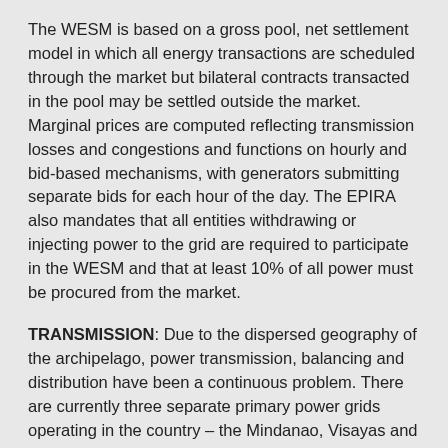The WESM is based on a gross pool, net settlement model in which all energy transactions are scheduled through the market but bilateral contracts transacted in the pool may be settled outside the market. Marginal prices are computed reflecting transmission losses and congestions and functions on hourly and bid-based mechanisms, with generators submitting separate bids for each hour of the day. The EPIRA also mandates that all entities withdrawing or injecting power to the grid are required to participate in the WESM and that at least 10% of all power must be procured from the market.
TRANSMISSION: Due to the dispersed geography of the archipelago, power transmission, balancing and distribution have been a continuous problem. There are currently three separate primary power grids operating in the country – the Mindanao, Visayas and Luzon networks. The largest of the three, the Luzon grid, transmitted 50,265 GWh in 2010, up 11.76% over the 2009 total of 5290 GWh, according to the DoE. The Visayas network handled 9075 GWh in 2010, up 4.02% year-on-year from the 2009 mark of 8724 GWh, while the Mindanao grid handled